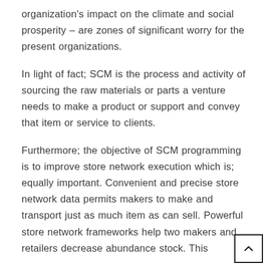organization's impact on the climate and social prosperity – are zones of significant worry for the present organizations.
In light of fact; SCM is the process and activity of sourcing the raw materials or parts a venture needs to make a product or support and convey that item or service to clients.
Furthermore; the objective of SCM programming is to improve store network execution which is; equally important. Convenient and precise store network data permits makers to make and transport just as much item as can sell. Powerful store network frameworks help two makers and retailers decrease abundance stock. This